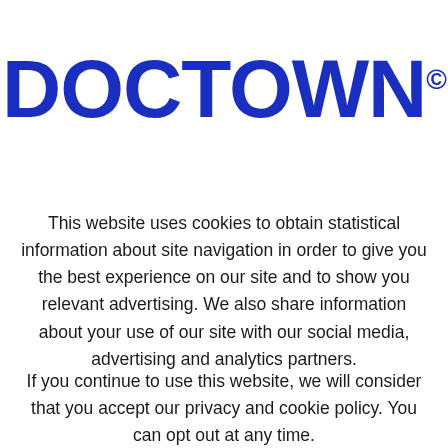[Figure (logo): DOCTOWN© logo in bold blue text]
This website uses cookies to obtain statistical information about site navigation in order to give you the best experience on our site and to show you relevant advertising. We also share information about your use of our site with our social media, advertising and analytics partners.
If you continue to use this website, we will consider that you accept our privacy and cookie policy. You can opt out at any time.